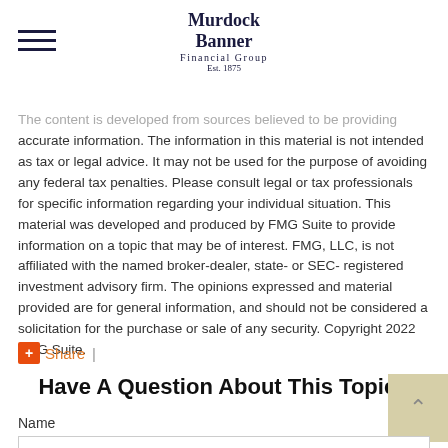Murdock Banner Financial Group Est. 1875
The content is developed from sources believed to be providing accurate information. The information in this material is not intended as tax or legal advice. It may not be used for the purpose of avoiding any federal tax penalties. Please consult legal or tax professionals for specific information regarding your individual situation. This material was developed and produced by FMG Suite to provide information on a topic that may be of interest. FMG, LLC, is not affiliated with the named broker-dealer, state- or SEC-registered investment advisory firm. The opinions expressed and material provided are for general information, and should not be considered a solicitation for the purchase or sale of any security. Copyright 2022 FMG Suite.
Share |
Have A Question About This Topic?
Name